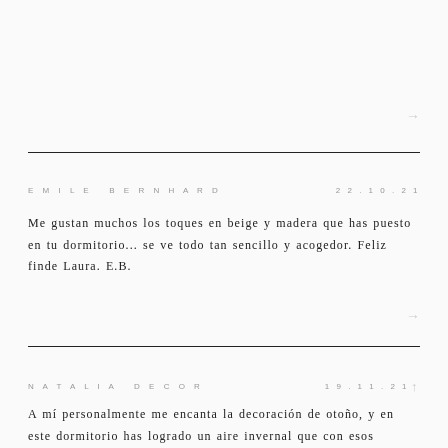→
EMILE BERNHARD
22.10.21
Me gustan muchos los toques en beige y madera que has puesto en tu dormitorio... se ve todo tan sencillo y acogedor. Feliz finde Laura. E.B.
→
NATALIA DECOR
19.11.21
A mí personalmente me encanta la decoración de otoño, y en este dormitorio has logrado un aire invernal que con esos detalles de madera resulta muy cálido y acogedor. Desde